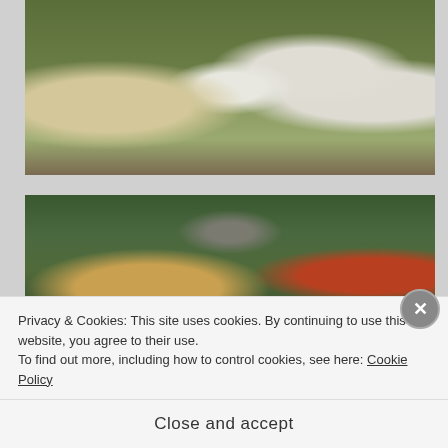[Figure (photo): Several white geese/ducks foraging on green grass with dry leaves scattered around. The birds are white with orange beaks and feet. Background shows trees and dirt.]
[Figure (photo): A tan/golden dog lying on the ground surrounded by green tropical plants. A red rooster or bird is visible on the right side. A concrete pillar is in the center background.]
Privacy & Cookies: This site uses cookies. By continuing to use this website, you agree to their use.
To find out more, including how to control cookies, see here: Cookie Policy
Close and accept